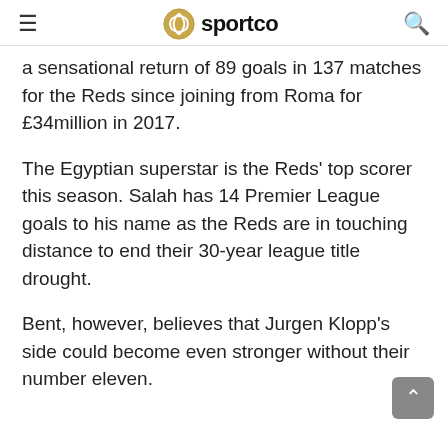sportco
a sensational return of 89 goals in 137 matches for the Reds since joining from Roma for £34million in 2017.
The Egyptian superstar is the Reds' top scorer this season. Salah has 14 Premier League goals to his name as the Reds are in touching distance to end their 30-year league title drought.
Bent, however, believes that Jurgen Klopp's side could become even stronger without their number eleven.